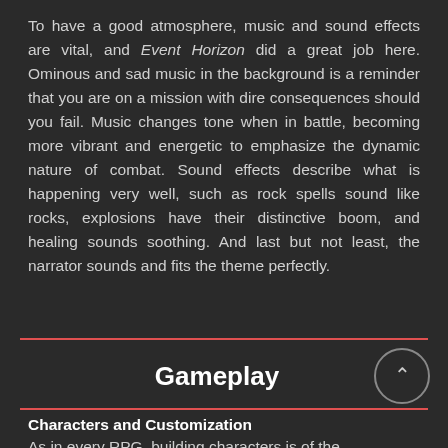To have a good atmosphere, music and sound effects are vital, and Event Horizon did a great job here. Ominous and sad music in the background is a reminder that you are on a mission with dire consequences should you fail. Music changes tone when in battle, becoming more vibrant and energetic to emphasize the dynamic nature of combat. Sound effects describe what is happening very well, such as rock spells sound like rocks, explosions have their distinctive boom, and healing sounds soothing. And last but not least, the narrator sounds and fits the theme perfectly.
Gameplay
Characters and Customization
As in every RPG, building characters is of the